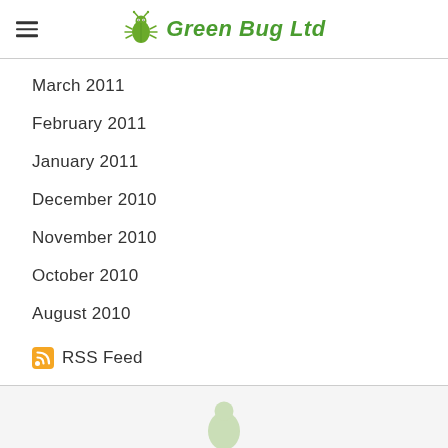Green Bug Ltd
March 2011
February 2011
January 2011
December 2010
November 2010
October 2010
August 2010
RSS Feed